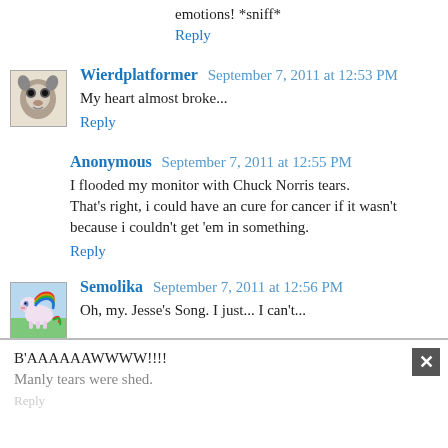emotions! *sniff*
Reply
Wierdplatformer  September 7, 2011 at 12:53 PM
My heart almost broke...
Reply
Anonymous  September 7, 2011 at 12:55 PM
I flooded my monitor with Chuck Norris tears. That's right, i could have an cure for cancer if it wasn't because i couldn't get 'em in something.
Reply
Semolika  September 7, 2011 at 12:56 PM
Oh, my. Jesse's Song. I just... I can't...
B'AAAAAAWWWW!!!!
Manly tears were shed.
Reply